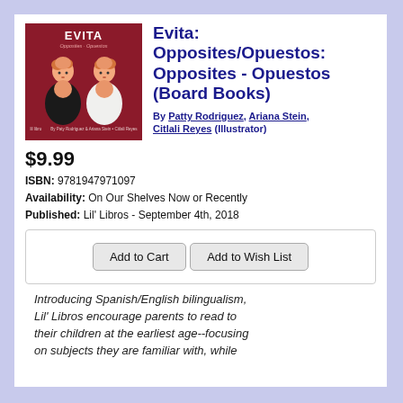[Figure (illustration): Book cover of Evita: Opposites/Opuestos showing two illustrated girls in red and white dresses on a dark red background with the word EVITA at the top]
Evita: Opposites/Opuestos: Opposites - Opuestos (Board Books)
By Patty Rodriguez, Ariana Stein, Citlali Reyes (Illustrator)
$9.99
ISBN: 9781947971097
Availability: On Our Shelves Now or Recently
Published: Lil' Libros - September 4th, 2018
Add to Cart | Add to Wish List
Introducing Spanish/English bilingualism, Lil' Libros encourage parents to read to their children at the earliest age--focusing on subjects they are familiar with, while